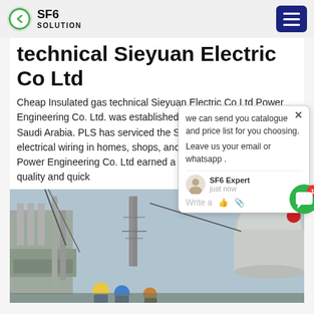SF6 SOLUTION
technical Sieyuan Electric Co Ltd
Cheap Insulated gas technical Sieyuan Electric Co Ltd Power Engineering Co. Ltd. was established in 2007, in Dammam, Saudi Arabia. PLS has serviced the Saudi community by doing electrical wiring in homes, shops, and factories. Over the years, Power Engineering Co. Ltd earned a reputation for excellence, quality and quick
[Figure (screenshot): Chat popup overlay from SF6 Expert saying: we can send you catalogue and price list for you choosing. Leave us your email or whatsapp.]
[Figure (photo): Industrial electrical substation with transformers, high-voltage towers, and workers in hard hats in the foreground.]